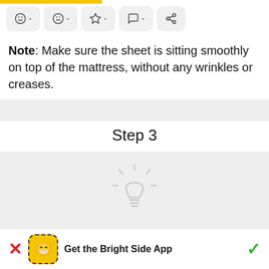Note: Make sure the sheet is sitting smoothly on top of the mattress, without any wrinkles or creases.
Step 3
[Figure (illustration): Gray placeholder area with a faint light bulb icon in the center]
Get the Bright Side App